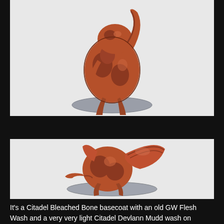[Figure (photo): Painted miniature figure of a creature, reddish-brown coloring, upright posture with arm raised, on a grey base, photographed against white background]
[Figure (photo): Painted miniature figure of a creature with large ear/wing-like protrusion, reddish-brown with darker wash, crouching pose on a grey oval base, photographed against white background]
It's a Citadel Bleached Bone basecoat with an old GW Flesh Wash and a very very light Citadel Devlann Mudd wash on